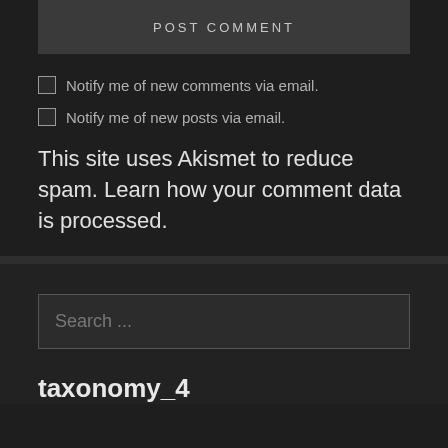POST COMMENT
Notify me of new comments via email.
Notify me of new posts via email.
This site uses Akismet to reduce spam. Learn how your comment data is processed.
Search ...
taxonomy_4